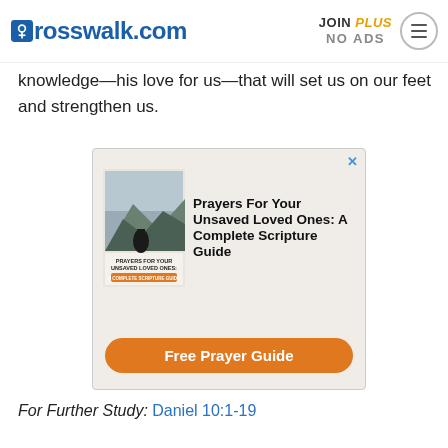crosswalk.com | JOIN PLUS NO ADS
knowledge—his love for us—that will set us on our feet and strengthen us.
[Figure (infographic): Advertisement for 'Prayers For Your Unsaved Loved Ones: A Complete Scripture Guide' with a book cover image and orange 'Free Prayer Guide' button.]
For Further Study: Daniel 10:1-19